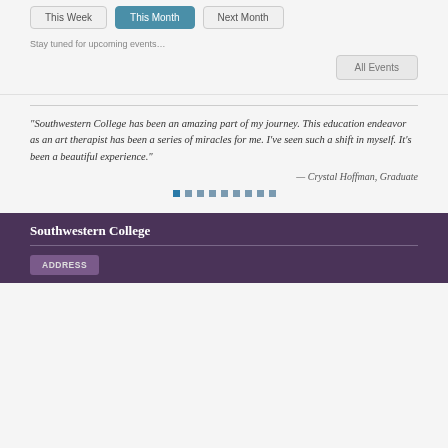This Week
This Month
Next Month
Stay tuned for upcoming events…
All Events
"Southwestern College has been an amazing part of my journey. This education endeavor as an art therapist has been a series of miracles for me. I've seen such a shift in myself. It's been a beautiful experience."
— Crystal Hoffman, Graduate
Southwestern College
ADDRESS